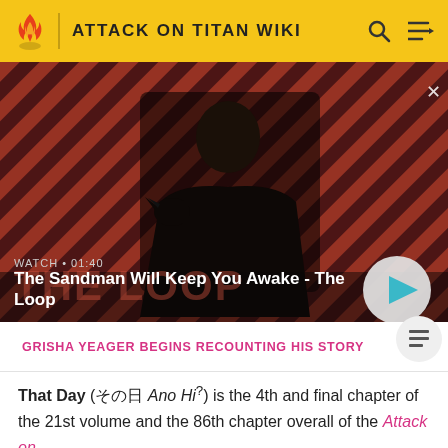ATTACK ON TITAN WIKI
[Figure (screenshot): Video thumbnail showing a dark figure with a crow on shoulder against a red striped background. Title: The Sandman Will Keep You Awake - The Loop. Duration: 01:40]
WATCH • 01:40 — The Sandman Will Keep You Awake - The Loop
GRISHA YEAGER BEGINS RECOUNTING HIS STORY
That Day (その日 Ano Hi?) is the 4th and final chapter of the 21st volume and the 86th chapter overall of the Attack on